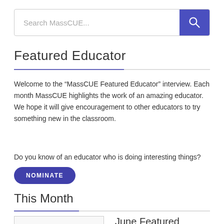[Figure (screenshot): Search bar with text 'Search MassCUE...' and a blue search button with magnifying glass icon]
Featured Educator
Welcome to the “MassCUE Featured Educator” interview. Each month MassCUE highlights the work of an amazing educator. We hope it will give encouragement to other educators to try something new in the classroom.
Do you know of an educator who is doing interesting things?
NOMINATE
This Month
June Featured Educator –